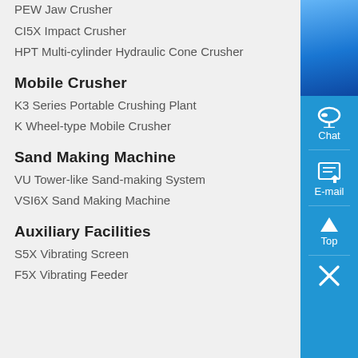PEW Jaw Crusher
CI5X Impact Crusher
HPT Multi-cylinder Hydraulic Cone Crusher
Mobile Crusher
K3 Series Portable Crushing Plant
K Wheel-type Mobile Crusher
Sand Making Machine
VU Tower-like Sand-making System
VSI6X Sand Making Machine
Auxiliary Facilities
S5X Vibrating Screen
F5X Vibrating Feeder